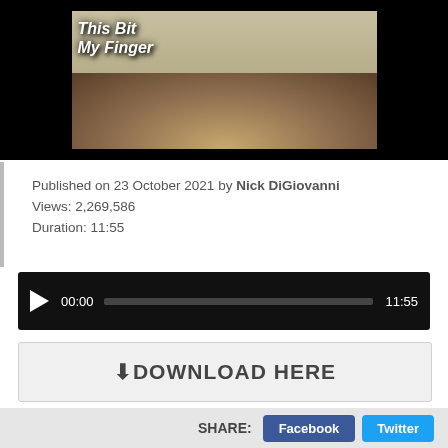[Figure (screenshot): Video thumbnail showing text 'This Bit My Finger' with pile of clams/shellfish on a beach, with a person in background.]
Published on 23 October 2021 by Nick DiGiovanni
Views: 2,269,586
Duration: 11:55
[Figure (screenshot): Video player control bar showing play button, timestamp 00:00, progress bar, and duration 11:55 on black background.]
⬇DOWNLOAD HERE
SHARE: Facebook Twitter
[Figure (infographic): Red button with white text 'Download Now!' and a white downward arrow icon on the right side.]